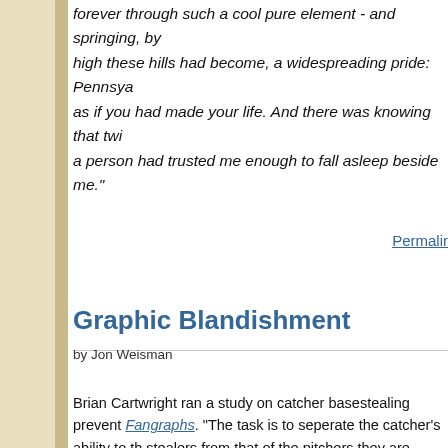forever through such a cool pure element - and springing, by high these hills had become, a widespreading pride: Pennsya as if you had made your life. And there was knowing that twi a person had trusted me enough to fall asleep beside me."
Permalink
Graphic Blandishment
by Jon Weisman
Brian Cartwright ran a study on catcher basestealing prevent Fangraphs. "The task is to seperate the catcher's ability to th stealers from that of the pitchers they are teamed with," Cart Among his findings …
1) New Dodger backup Brad Ausmus has been trending sha effectiveness, though the low rate of stealing attempts agains opponents haven't realized it.
2) Henry Blanco, signed for cheaper dollars by the Padres o